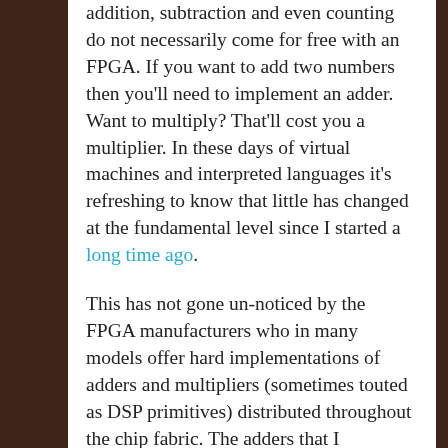addition, subtraction and even counting do not necessarily come for free with an FPGA. If you want to add two numbers then you'll need to implement an adder. Want to multiply? That'll cost you a multiplier. In these days of virtual machines and interpreted languages it's refreshing to know that little has changed at the fundamental level since I started a long time ago.
This has not gone un-noticed by the FPGA manufacturers who in many models offer hard implementations of adders and multipliers (sometimes touted as DSP primitives) distributed throughout the chip fabric. The adders that I instantiate are pipelined